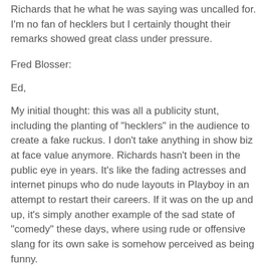Richards that he what he was saying was uncalled for. I'm no fan of hecklers but I certainly thought their remarks showed great class under pressure.
Fred Blosser:
Ed,
My initial thought: this was all a publicity stunt, including the planting of "hecklers" in the audience to create a fake ruckus. I don't take anything in show biz at face value anymore. Richards hasn't been in the public eye in years. It's like the fading actresses and internet pinups who do nude layouts in Playboy in an attempt to restart their careers. If it was on the up and up, it's simply another example of the sad state of "comedy" these days, where using rude or offensive slang for its own sake is somehow perceived as being funny.
Fred
Yesterday Ray Richmond didn't have much good to say about Michael Richards. Understandably. But like me he